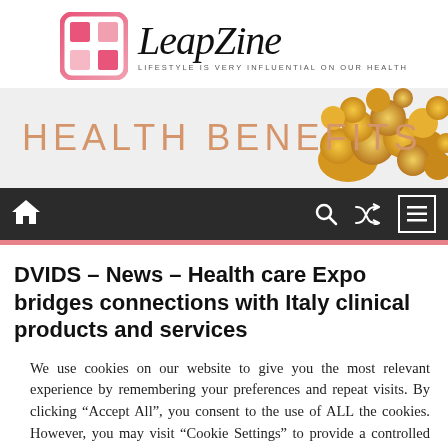[Figure (logo): LeapZine logo with pink grid icon and italic serif text, subtitle: LIFESTYLE IS VERY INFLUENTIAL ON OUR HEALTH]
[Figure (illustration): Banner with text HEALTH BENEFITS on light gray background with popcorn image on the right]
[Figure (infographic): Dark navigation bar with home icon, search icon, shuffle icon, and menu icon]
DVIDS – News – Health care Expo bridges connections with Italy clinical products and services
We use cookies on our website to give you the most relevant experience by remembering your preferences and repeat visits. By clicking “Accept All”, you consent to the use of ALL the cookies. However, you may visit “Cookie Settings” to provide a controlled consent.